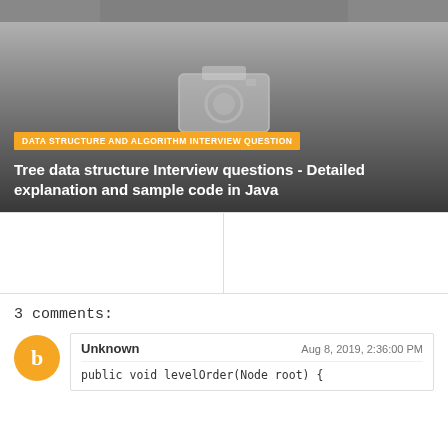[Figure (photo): Top strip showing bottom portion of an image with dark/grey gradient tones]
[Figure (photo): Card with grey gradient background and camera placeholder icon in center. Orange category tag and white article title overlaid at bottom.]
DATA STRUCTURE AND ALGORITHM INTERVIEW QUESTION
Tree data structure Interview questions - Detailed explanation and sample code in Java
3 comments:
Unknown
Aug 8, 2019, 2:36:00 PM
public void levelOrder(Node root) {